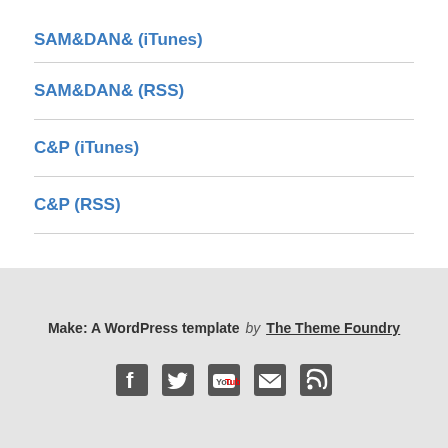SAM&DAN& (iTunes)
SAM&DAN& (RSS)
C&P (iTunes)
C&P (RSS)
Make: A WordPress template by The Theme Foundry